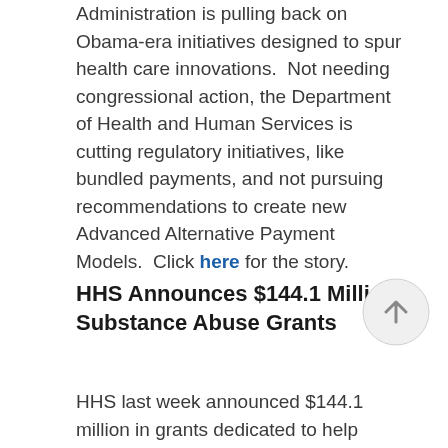Administration is pulling back on Obama-era initiatives designed to spur health care innovations.  Not needing congressional action, the Department of Health and Human Services is cutting regulatory initiatives, like bundled payments, and not pursuing recommendations to create new Advanced Alternative Payment Models.  Click here for the story.
HHS Announces $144.1 Million in Substance Abuse Grants
HHS last week announced $144.1 million in grants dedicated to help prevent and